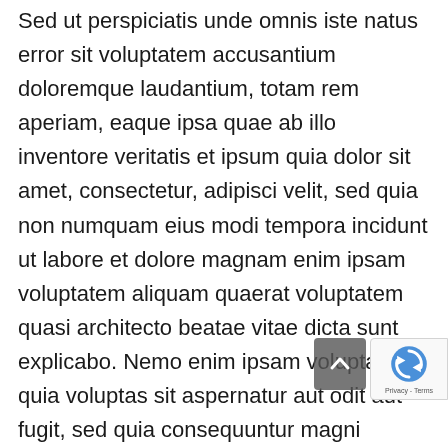Sed ut perspiciatis unde omnis iste natus error sit voluptatem accusantium doloremque laudantium, totam rem aperiam, eaque ipsa quae ab illo inventore veritatis et ipsum quia dolor sit amet, consectetur, adipisci velit, sed quia non numquam eius modi tempora incidunt ut labore et dolore magnam enim ipsam voluptatem aliquam quaerat voluptatem quasi architecto beatae vitae dicta sunt explicabo. Nemo enim ipsam voluptatem quia voluptas sit aspernatur aut odit aut fugit, sed quia consequuntur magni dolores eos qui ratione voluptatem sequi nesciunt.. Neque porro quisquam est, qui dolorem ipsum quia dolor sit amet, consectetur, adipisci velit, sed quia non numquam eius modi tempora incidunt ut labore et dolore magnam enims.